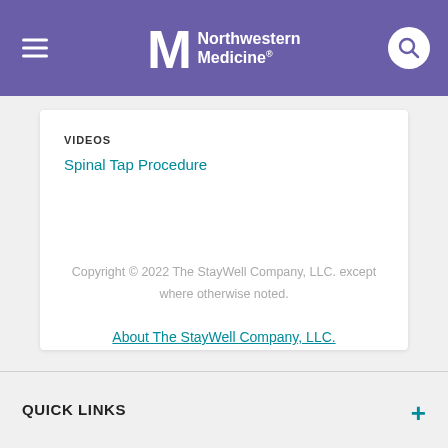Northwestern Medicine
VIDEOS
Spinal Tap Procedure
Copyright © 2022 The StayWell Company, LLC. except where otherwise noted.
About The StayWell Company, LLC.
QUICK LINKS